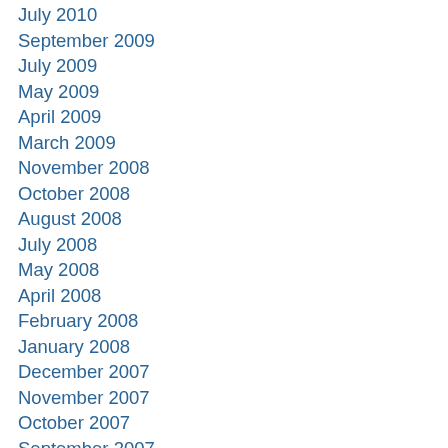July 2010
September 2009
July 2009
May 2009
April 2009
March 2009
November 2008
October 2008
August 2008
July 2008
May 2008
April 2008
February 2008
January 2008
December 2007
November 2007
October 2007
September 2007